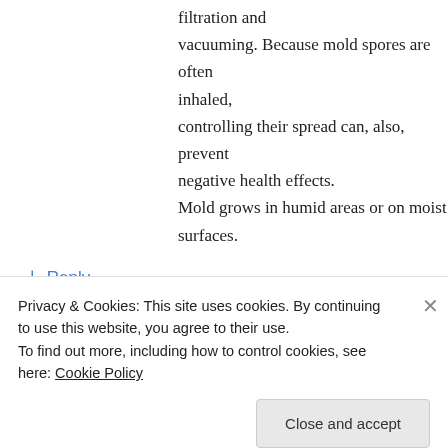filtration and vacuuming. Because mold spores are often inhaled, controlling their spread can, also, prevent negative health effects. Mold grows in humid areas or on moist surfaces.
↳ Reply
small business site on March 4, 2014 at 2:04 pm
Howdy! This is kind of off topic but I need some
Privacy & Cookies: This site uses cookies. By continuing to use this website, you agree to their use. To find out more, including how to control cookies, see here: Cookie Policy
Close and accept